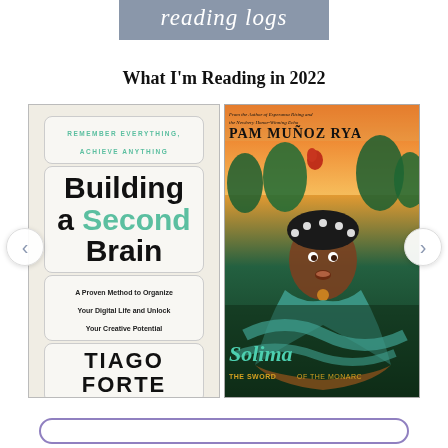reading logs
What I'm Reading in 2022
[Figure (illustration): Book cover of 'Building a Second Brain' by Tiago Forte. Subtitle: Remember Everything, Achieve Anything. A Proven Method to Organize Your Digital Life and Unlock Your Creative Potential.]
[Figure (illustration): Book cover of 'Solimar: The Sword of the Monarch' by Pam Muñoz Ryan. Features illustrated artwork of a young girl with colorful background and a monarch butterfly motif.]
< navigation arrow left
> navigation arrow right